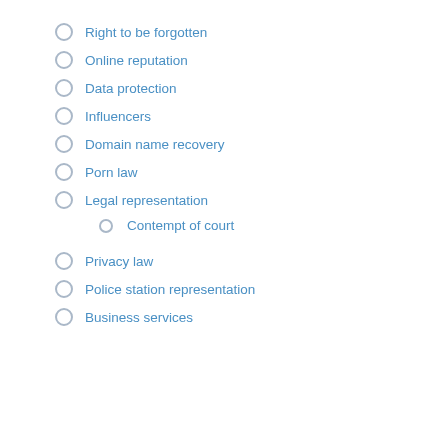Right to be forgotten
Online reputation
Data protection
Influencers
Domain name recovery
Porn law
Legal representation
Contempt of court
Privacy law
Police station representation
Business services